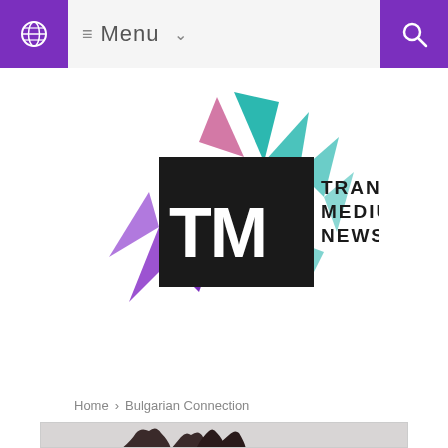≡ Menu
[Figure (logo): Trans Medium News logo with colorful geometric star/spike shapes and black square containing TM letters, with TRANS MEDIUM NEWS text]
≡ Menu
Home > Bulgarian Connection
[Figure (photo): Partial view of a dark sculpture showing figures, photographed against a light grey background]